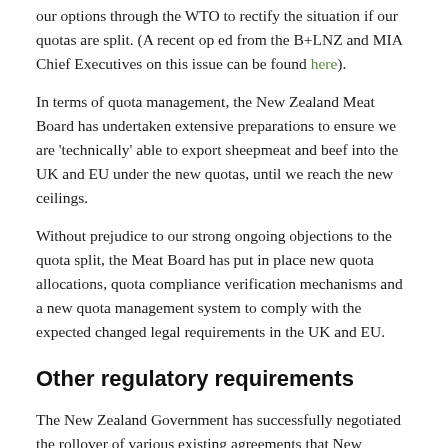our options through the WTO to rectify the situation if our quotas are split. (A recent op ed from the B+LNZ and MIA Chief Executives on this issue can be found here).
In terms of quota management, the New Zealand Meat Board has undertaken extensive preparations to ensure we are 'technically' able to export sheepmeat and beef into the UK and EU under the new quotas, until we reach the new ceilings.
Without prejudice to our strong ongoing objections to the quota split, the Meat Board has put in place new quota allocations, quota compliance verification mechanisms and a new quota management system to comply with the expected changed legal requirements in the UK and EU.
Other regulatory requirements
The New Zealand Government has successfully negotiated the rollover of various existing agreements that New Zealand has with the EU to the UK. These include the Veterinary Agreement and Mutual Recognition Agreement. This means that New